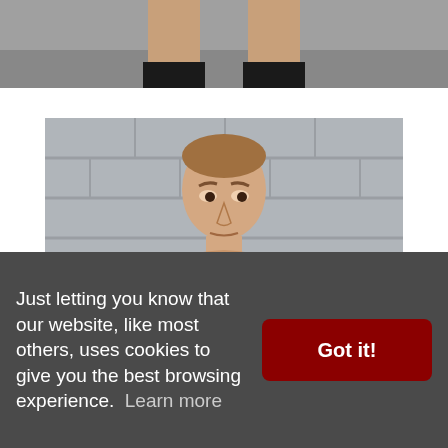[Figure (photo): Partial photo at top of page showing a person's lower legs and feet in black socks/shoes against a gym floor background]
[Figure (photo): Photo of a shirtless lean muscular young man with short hair standing in front of a concrete block wall, front view torso shot]
Just letting you know that our website, like most others, uses cookies to give you the best browsing experience.  Learn more
Got it!